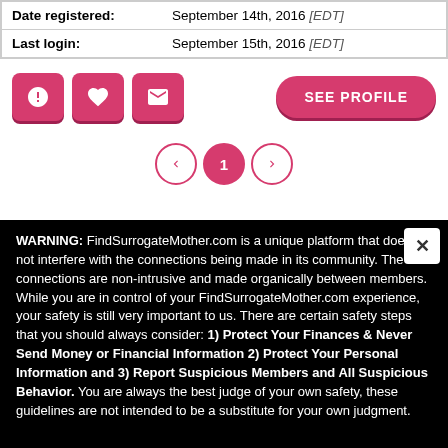| Date registered: | September 14th, 2016 [EDT] |
| Last login: | September 15th, 2016 [EDT] |
[Figure (other): Action buttons row with warning/alert icon, heart icon, envelope icon, and 'SEE PROFILE' button]
[Figure (other): Pagination controls: previous arrow, page 1 (active), next arrow]
WARNING: FindSurrogateMother.com is a unique platform that does not interfere with the connections being made in its community. The connections are non-intrusive and made organically between members. While you are in control of your FindSurrogateMother.com experience, your safety is still very important to us. There are certain safety steps that you should always consider: 1) Protect Your Finances & Never Send Money or Financial Information 2) Protect Your Personal Information and 3) Report Suspicious Members and All Suspicious Behavior. You are always the best judge of your own safety, these guidelines are not intended to be a substitute for your own judgment.